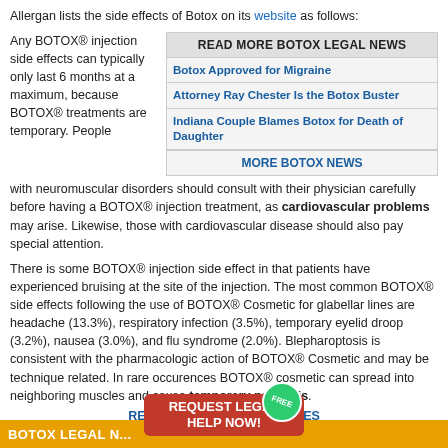Allergan lists the side effects of Botox on its website as follows:
Any BOTOX® injection side effects can typically only last 6 months at a maximum, because BOTOX® treatments are temporary. People with neuromuscular disorders should consult with their physician carefully before having a BOTOX® injection treatment, as cardiovascular problems may arise. Likewise, those with cardiovascular disease should also pay special attention.
[Figure (infographic): Sidebar box with header READ MORE BOTOX LEGAL NEWS, links: Botox Approved for Migraine, Attorney Ray Chester Is the Botox Buster, Indiana Couple Blames Botox for Death of Daughter, MORE BOTOX NEWS]
There is some BOTOX® injection side effect in that patients have experienced bruising at the site of the injection. The most common BOTOX® side effects following the use of BOTOX® Cosmetic for glabellar lines are headache (13.3%), respiratory infection (3.5%), temporary eyelid droop (3.2%), nausea (3.0%), and flu syndrome (2.0%). Blepharoptosis is consistent with the pharmacologic action of BOTOX® Cosmetic and may be technique related. In rare occurences BOTOX® cosmetic can spread into neighboring muscles and cause temporary paralysis.
READ ABOUT BOTOX INJURIES
[Figure (infographic): Red CTA button: REQUEST LEGAL HELP NOW! with green FREE badge]
BOTOX LEGAL N...